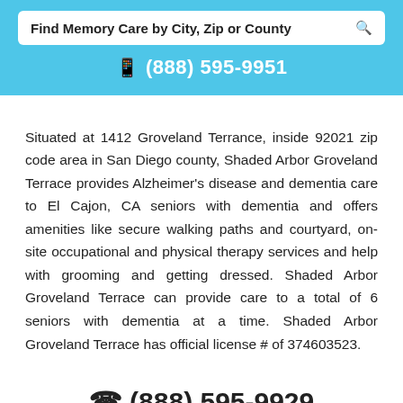Find Memory Care by City, Zip or County
(888) 595-9951
Situated at 1412 Groveland Terrance, inside 92021 zip code area in San Diego county, Shaded Arbor Groveland Terrace provides Alzheimer's disease and dementia care to El Cajon, CA seniors with dementia and offers amenities like secure walking paths and courtyard, on-site occupational and physical therapy services and help with grooming and getting dressed. Shaded Arbor Groveland Terrace can provide care to a total of 6 seniors with dementia at a time. Shaded Arbor Groveland Terrace has official license # of 374603523.
(888) 595-9929